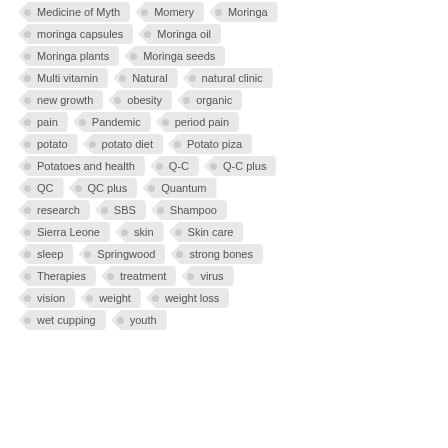Medicine of Myth
Momery
Moringa
moringa capsules
Moringa oil
Moringa plants
Moringa seeds
Multi vitamin
Natural
natural clinic
new growth
obesity
organic
pain
Pandemic
period pain
potato
potato diet
Potato piza
Potatoes and health
Q-C
Q-C plus
QC
QC plus
Quantum
research
SBS
Shampoo
Sierra Leone
skin
Skin care
sleep
Springwood
strong bones
Therapies
treatment
virus
vision
weight
weight loss
wet cupping
youth